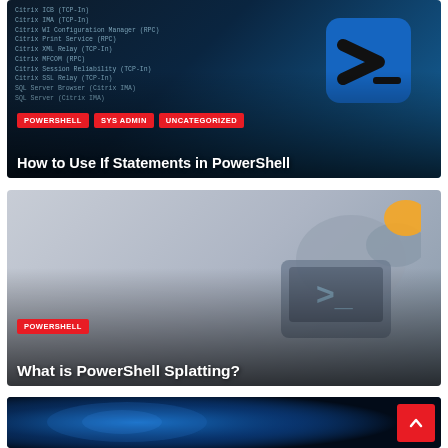[Figure (screenshot): Blog post card: dark terminal background with PowerShell command text on left, blue PowerShell prompt icon on right. Tags: POWERSHELL, SYS ADMIN, UNCATEGORIZED. Title: How to Use If Statements in PowerShell]
[Figure (screenshot): Blog post card: light grey background with large PowerShell splash/gear graphic in grey and yellow/orange. Tag: POWERSHELL. Title: What is PowerShell Splatting?]
[Figure (screenshot): Partial blog post card at bottom: dark blue background with glowing eye/tech imagery partially visible. Scroll-to-top red button in bottom-right.]